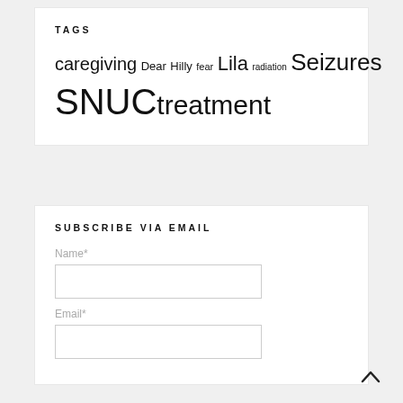TAGS
caregiving Dear Hilly fear Lila radiation Seizures SNUC treatment
SUBSCRIBE VIA EMAIL
Name*
Email*